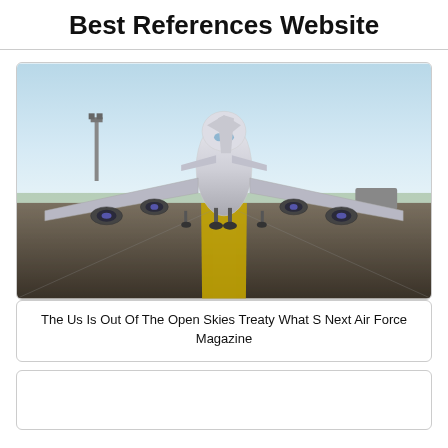Best References Website
[Figure (photo): A large commercial/military aircraft viewed head-on on an airport tarmac runway with yellow center line markings, blue sky, and airport lights in background]
The Us Is Out Of The Open Skies Treaty What S Next Air Force Magazine